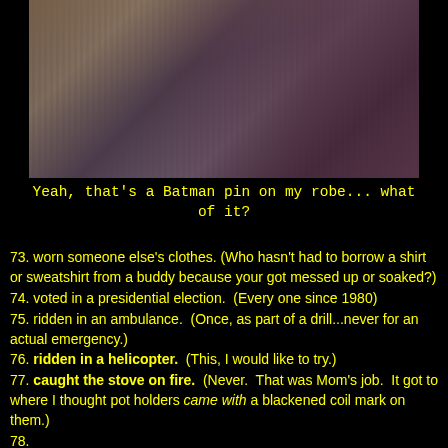[Figure (photo): Old photograph showing two people standing together, one wearing a striped robe with a Batman pin]
Yeah, that's a Batman pin on my robe... what of it?
73. worn someone else's clothes. (Who hasn't had to borrow a shirt or sweatshirt from a buddy because your got messed up or soaked?)
74. voted in a presidential election. (Every one since 1980)
75. ridden in an ambulance. (Once, as part of a drill...never for an actual emergency.)
76. ridden in a helicopter. (This, I would like to try.)
77. caught the stove on fire. (Never. That was Mom's job. It got to where I thought pot holders came with a blackened coil mark on them.)
78. ...